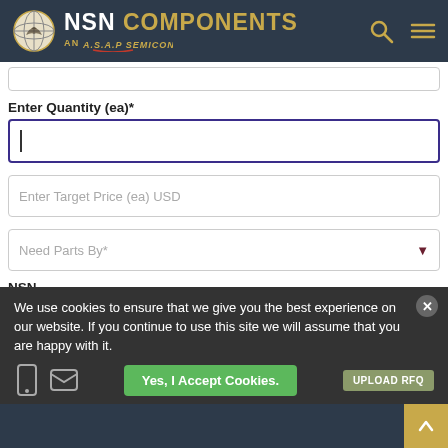NSN COMPONENTS — AN A.S.A.P SEMICONDUCTOR WEBSITE
Enter Quantity (ea)*
Enter Target Price (ea) USD
Need Parts By*
NSN
6150015053305
We use cookies to ensure that we give you the best experience on our website. If you continue to use this site we will assume that you are happy with it.
Yes, I Accept Cookies.